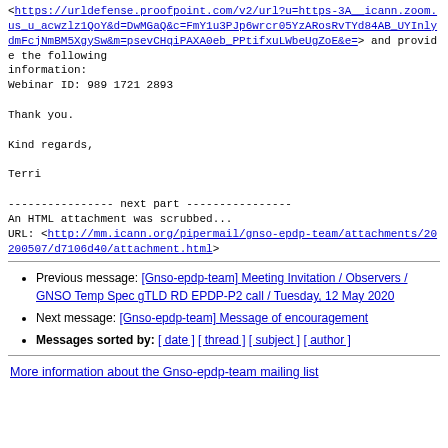<https://urldefense.proofpoint.com/v2/url?u=https-3A__icann.zoom.us_u_acwzlz1QoY&d=DwMGaQ&c=FmY1u3PJp6wrcr05YzARosRvTYd84AB_UYInlydmFcjNmBM5XgySw&m=psevCHqiPAXA0eb_PPtifxuLWbeUgZoE&e=> and provide the following information:
Webinar ID: 989 1721 2893
Thank you.
Kind regards,
Terri
---------------- next part ----------------
An HTML attachment was scrubbed...
URL: <http://mm.icann.org/pipermail/gnso-epdp-team/attachments/20200507/d7106d40/attachment.html>
Previous message: [Gnso-epdp-team] Meeting Invitation / Observers / GNSO Temp Spec gTLD RD EPDP-P2 call / Tuesday, 12 May 2020
Next message: [Gnso-epdp-team] Message of encouragement
Messages sorted by: [ date ] [ thread ] [ subject ] [ author ]
More information about the Gnso-epdp-team mailing list